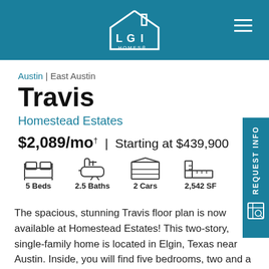[Figure (logo): LGI Homes logo - white house outline with LGI text on teal background]
Austin | East Austin
Travis
Homestead Estates
$2,089/mo† | Starting at $439,900
5 Beds  2.5 Baths  2 Cars  2,542 SF
The spacious, stunning Travis floor plan is now available at Homestead Estates! This two-story, single-family home is located in Elgin, Texas near Austin. Inside, you will find five bedrooms, two and a half